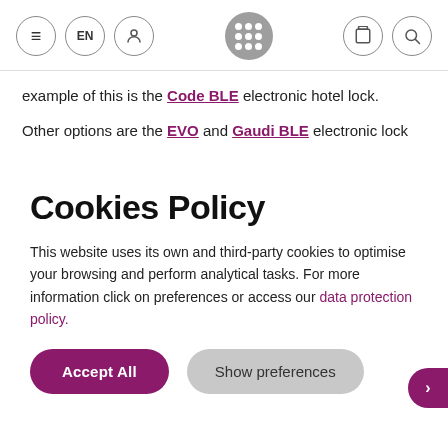Navigation bar with hamburger menu, EN language selector, user icon, grid/apps icon, shopping bag icon, search icon
example of this is the Code BLE electronic hotel lock.
Other options are the EVO and Gaudi BLE electronic lock
Cookies Policy
This website uses its own and third-party cookies to optimise your browsing and perform analytical tasks. For more information click on preferences or access our data protection policy.
Accept All
Show preferences
management via an app and a network of Gateways. These